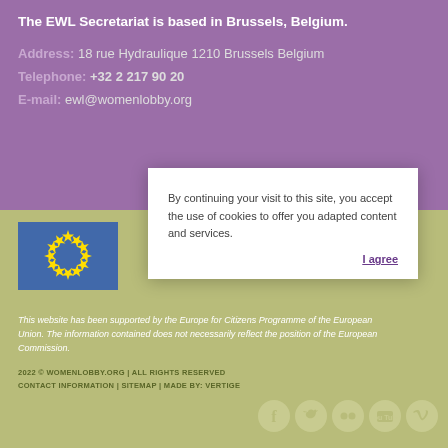The EWL Secretariat is based in Brussels, Belgium.
Address: 18 rue Hydraulique 1210 Brussels Belgium
Telephone: +32 2 217 90 20
E-mail: ewl@womenlobby.org
By continuing your visit to this site, you accept the use of cookies to offer you adapted content and services.
I agree
[Figure (logo): European Union flag - blue rectangle with circle of yellow stars]
This website has been supported by the Europe for Citizens Programme of the European Union. The information contained does not necessarily reflect the position of the European Commission.
2022 © WOMENLOBBY.ORG | ALL RIGHTS RESERVED
CONTACT INFORMATION | SITEMAP | MADE BY: VERTIGE
[Figure (logo): Social media icons: Facebook, Twitter, Flickr, YouTube, Vimeo]